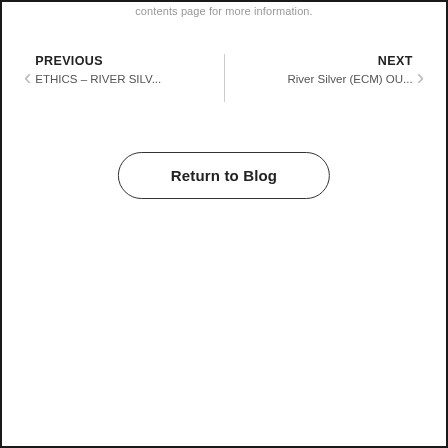contents page for more information.
PREVIOUS
ETHICS – RIVER SILV...
NEXT
River Silver (ECM) OU...
Return to Blog